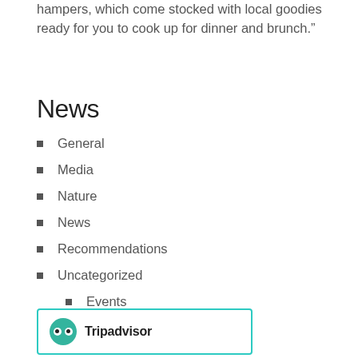hampers, which come stocked with local goodies ready for you to cook up for dinner and brunch.”
News
General
Media
Nature
News
Recommendations
Uncategorized
Events
[Figure (logo): Tripadvisor logo with green circle icon and brand name text]